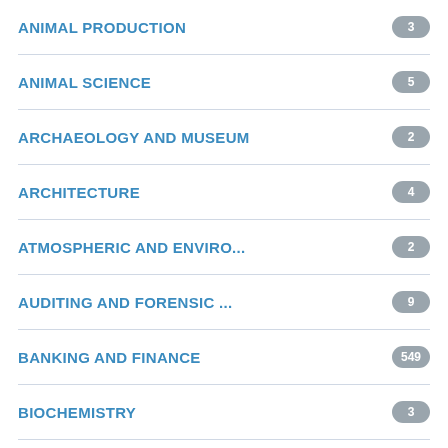ANIMAL PRODUCTION
ANIMAL SCIENCE
ARCHAEOLOGY AND MUSEUM
ARCHITECTURE
ATMOSPHERIC AND ENVIRO...
AUDITING AND FORENSIC ...
BANKING AND FINANCE
BIOCHEMISTRY
BIOLOGY
BIOLOGY EDUCATION
BIOMATHEMATICS